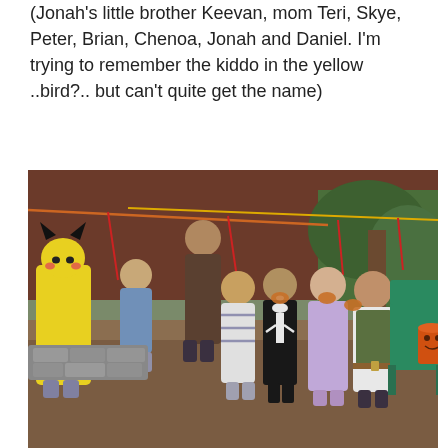(Jonah's little brother Keevan, mom Teri, Skye, Peter, Brian, Chenoa, Jonah and Daniel. I'm trying to remember the kiddo in the yellow ..bird?.. but can't quite get the name)
[Figure (photo): Children in Halloween costumes in a backyard, playing a game bobbing for donuts on strings hanging from a red and yellow rope. One child is dressed as a yellow bird/Pikachu costume. Other children are in various costumes including a skeleton, white ghost/bunny, and Han Solo. Adults visible in the background. Green plastic lawn chairs visible on the right. Orange Halloween bucket on far right.]